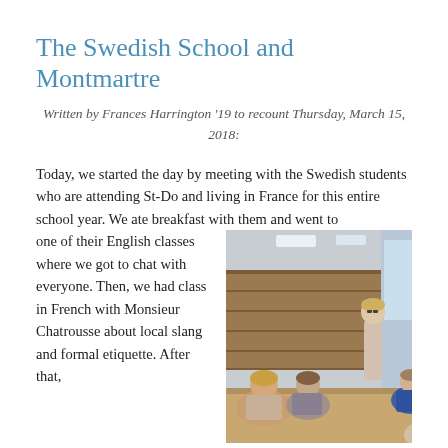The Swedish School and Montmartre
Written by Frances Harrington '19 to recount Thursday, March 15, 2018:
Today, we started the day by meeting with the Swedish students who are attending St-Do and living in France for this entire school year. We ate breakfast with them and went to one of their English classes where we got to chat with everyone. Then, we had class in French with Monsieur Chatrousse about local slang and formal etiquette. After that,
[Figure (photo): Students sitting around a table in a classroom or cafeteria setting, chatting, with a wooden wall panel in the background.]